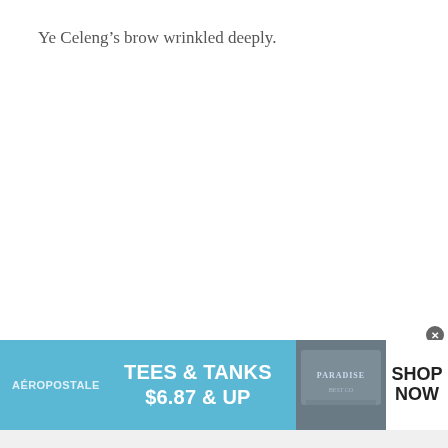Ye Celeng’s brow wrinkled deeply.
[Figure (infographic): Aeropostale advertisement banner: sky blue background with brand name AEROPOSTALE on left, center text TEES & TANKS $6.87 & UP in bold white, right side shows a photo of clothing items with PARADISE text visible, far right white section reads SHOP NOW in bold black text. Small close (x) button in top right corner of ad.]